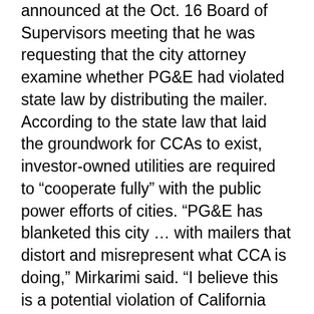announced at the Oct. 16 Board of Supervisors meeting that he was requesting that the city attorney examine whether PG&E had violated state law by distributing the mailer. According to the state law that laid the groundwork for CCAs to exist, investor-owned utilities are required to “cooperate fully” with the public power efforts of cities. “PG&E has blanketed this city … with mailers that distort and misrepresent what CCA is doing,” Mirkarimi said. “I believe this is a potential violation of California Public Utility Commission law.”
Several days before Mirkarimi’s announcement, the Guardian received confirmation from City Attorney Dennis Herrera that his office is looking into the matter.